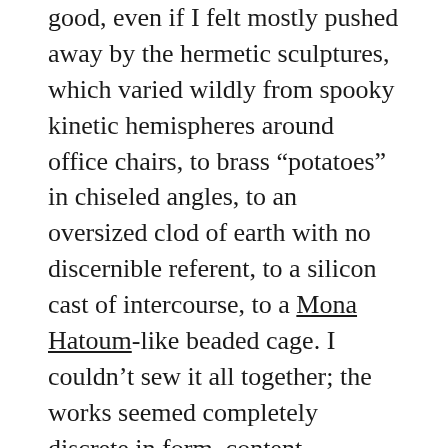good, even if I felt mostly pushed away by the hermetic sculptures, which varied wildly from spooky kinetic hemispheres around office chairs, to brass “potatoes” in chiseled angles, to an oversized clod of earth with no discernible referent, to a silicon cast of intercourse, to a Mona Hatoum-like beaded cage. I couldn’t sew it all together; the works seemed completely discrete in form, content, concerns. The only thing I could make sense of is the fact that Gröting was a student of Joseph Beuys; this may be stereotypical, but I find some meaning in the fact of her German-ness, as I’ve felt similarly—locked